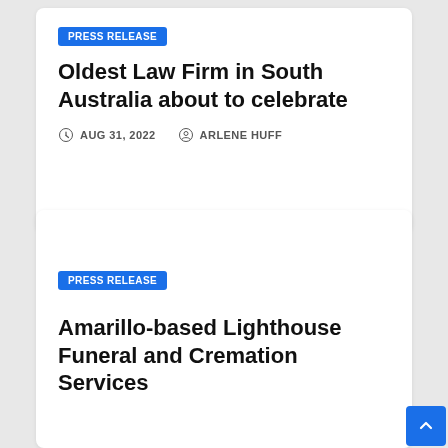PRESS RELEASE
Oldest Law Firm in South Australia about to celebrate
AUG 31, 2022   ARLENE HUFF
PRESS RELEASE
Amarillo-based Lighthouse Funeral and Cremation Services